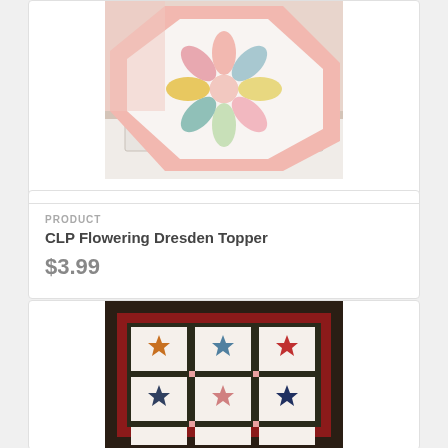[Figure (photo): A pastel-colored flowering Dresden quilt topper draped over a white dresser. The quilt features pink, yellow, blue, and green wedge-shaped pieces arranged in a circular star/flower pattern on a white background with pink border.]
PRODUCT
CLP Flowering Dresden Topper
$3.99
[Figure (photo): A sampler quilt with a dark green and red border featuring a 3x3 (and partial bottom row) grid of Ohio Star or similar star quilt blocks. Each block has a white background with colorful star points in orange, blue, red, and dark tones. Pink small squares appear at intersections of the sashing.]